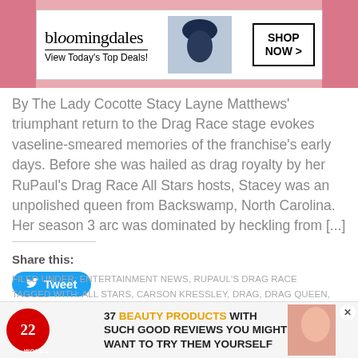[Figure (other): Bloomingdale's advertisement banner with woman in blue hat, 'View Today's Top Deals!' and 'SHOP NOW >' button]
By The Lady Cocotte Stacy Layne Matthews' triumphant return to the Drag Race stage evokes vaseline-smeared memories of the franchise's early days. Before she was hailed as drag royalty by her RuPaul's Drag Race All Stars hosts, Stacey was an unpolished queen from Backswamp, North Carolina. Her season 3 arc was dominated by heckling from [...]
Share this:
[Figure (other): Twitter Tweet button (blue rounded rectangle with bird icon and 'Tweet' text)]
FILED UNDER: ENTERTAINMENT NEWS, RUPAUL'S DRAG RACE
TAGGED WITH: ALL STARS, CARSON KRESSLEY, DRAG, DRAG QUEEN, DRAG QUEENS, DRAG RACE, FARRAH MOAN, GIA GUNN, JASMINE MASTERS, LATRICE ROYALE, LGBT, LGBTQI... A LUZON... ART, NAOMI... N, DRAG...
[Figure (other): 22 Words advertisement: '37 BEAUTY PRODUCTS WITH SUCH GOOD REVIEWS YOU MIGHT WANT TO TRY THEM YOURSELF' with red circular badge and CLOSE button overlay]